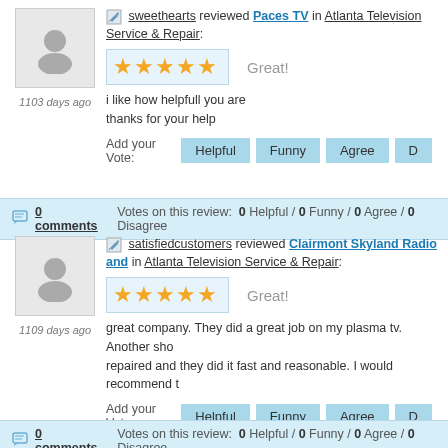sweethearts reviewed Paces TV in Atlanta Television Service & Repair:
[Figure (other): 5-star rating with text 'Great!']
i like how helpfull you are
thanks for your help
Add your Vote: Helpful Funny Agree D...
0 comments   Votes on this review: 0 Helpful / 0 Funny / 0 Agree / 0 Disagree
satisfiedcustomers reviewed Clairmont Skyland Radio and ... in Atlanta Television Service & Repair:
[Figure (other): 5-star rating with text 'Great!']
great company. They did a great job on my plasma tv. Another sho... repaired and they did it fast and reasonable. I would recommend t...
Add your Vote: Helpful Funny Agree D...
0 comments   Votes on this review: 0 Helpful / 0 Funny / 0 Agree / 0 Disagree